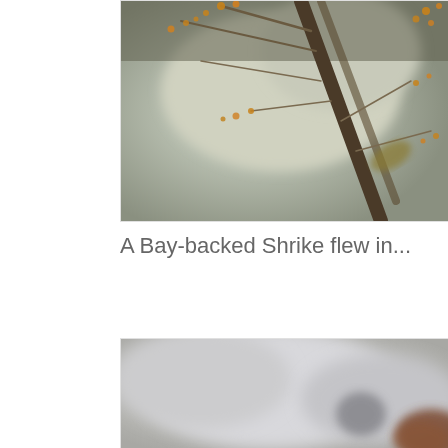[Figure (photo): A blurred nature photograph showing branches with small orange/golden flower buds against a muted grey-green background, cropped at top]
A Bay-backed Shrike flew in...
[Figure (photo): A blurred close-up photograph showing a grey and brown bird (Bay-backed Shrike) against a soft grey background, largely out of focus]